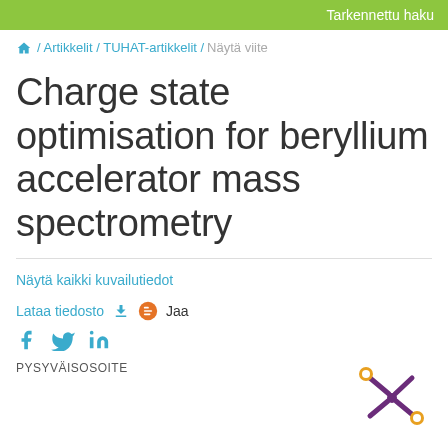Tarkennettu haku
/ Artikkelit / TUHAT-artikkelit / Näytä viite
Charge state optimisation for beryllium accelerator mass spectrometry
Näytä kaikki kuvailutiedot
Lataa tiedosto   Jaa
PYSYVÄISOSOITE